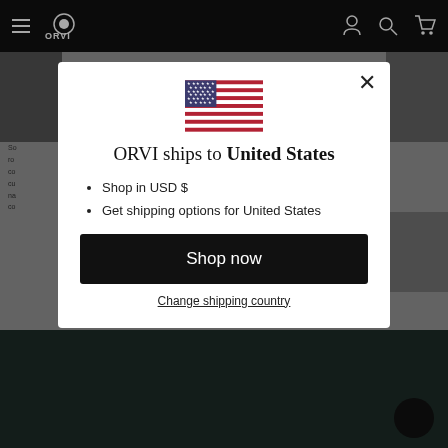ORVI navigation header with logo, hamburger menu, account, search, and cart icons
[Figure (screenshot): ORVI website background with product imagery and partially visible text behind modal overlay]
[Figure (illustration): United States flag icon displayed in modal dialog]
ORVI ships to United States
Shop in USD $
Get shipping options for United States
Shop now
Change shipping country